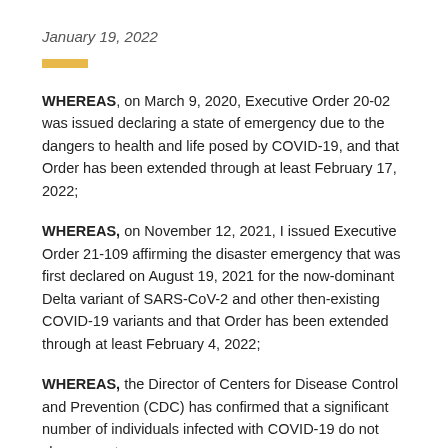January 19, 2022
WHEREAS, on March 9, 2020, Executive Order 20-02 was issued declaring a state of emergency due to the dangers to health and life posed by COVID-19, and that Order has been extended through at least February 17, 2022;
WHEREAS, on November 12, 2021, I issued Executive Order 21-109 affirming the disaster emergency that was first declared on August 19, 2021 for the now-dominant Delta variant of SARS-CoV-2 and other then-existing COVID-19 variants and that Order has been extended through at least February 4, 2022;
WHEREAS, the Director of Centers for Disease Control and Prevention (CDC) has confirmed that a significant number of individuals infected with COVID-19 do not show symptoms;